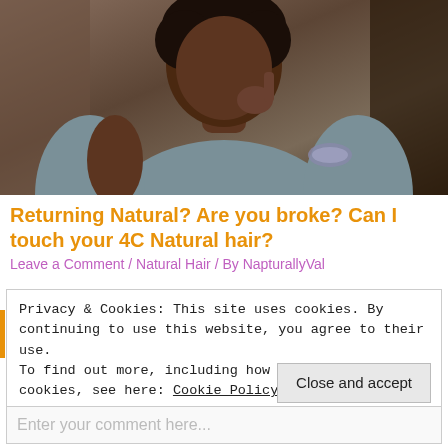[Figure (photo): A woman in a grey sleeveless top, posing with her hand on her chin, wearing a decorative bracelet, photographed from the torso up.]
Returning Natural? Are you broke? Can I touch your 4C Natural hair?
Leave a Comment / Natural Hair / By NapturallyVal
Privacy & Cookies: This site uses cookies. By continuing to use this website, you agree to their use.
To find out more, including how to control cookies, see here: Cookie Policy
Close and accept
Enter your comment here...